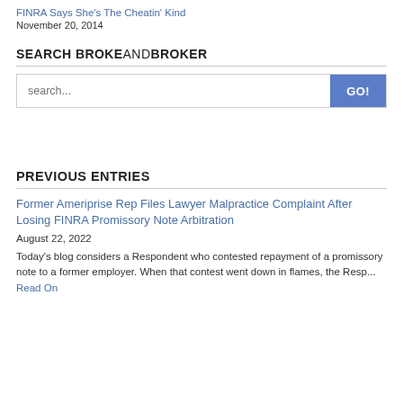FINRA Says She's The Cheatin' Kind
November 20, 2014
SEARCH BROKEANDBROKER
[Figure (other): Search bar with text input and GO! button]
PREVIOUS ENTRIES
Former Ameriprise Rep Files Lawyer Malpractice Complaint After Losing FINRA Promissory Note Arbitration
August 22, 2022
Today's blog considers a Respondent who contested repayment of a promissory note to a former employer. When that contest went down in flames, the Resp... Read On